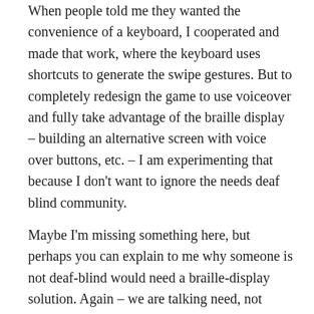When people told me they wanted the convenience of a keyboard, I cooperated and made that work, where the keyboard uses shortcuts to generate the swipe gestures. But to completely redesign the game to use voiceover and fully take advantage of the braille display – building an alternative screen with voice over buttons, etc. – I am experimenting that because I don't want to ignore the needs deaf blind community.
Maybe I'm missing something here, but perhaps you can explain to me why someone is not deaf-blind would need a braille-display solution. Again – we are talking need, not preference. If it falls into the preference category – that would justify charging for this, since its